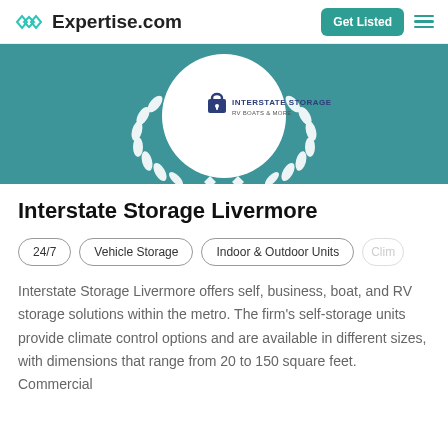Expertise.com — Get Listed
[Figure (logo): Interstate Storage RV Boats & More logo inside a white circular badge with laurel wreath decoration on a teal background]
Interstate Storage Livermore
24/7
Vehicle Storage
Indoor & Outdoor Units
Clim...
Interstate Storage Livermore offers self, business, boat, and RV storage solutions within the metro. The firm's self-storage units provide climate control options and are available in different sizes, with dimensions that range from 20 to 150 square feet. Commercial